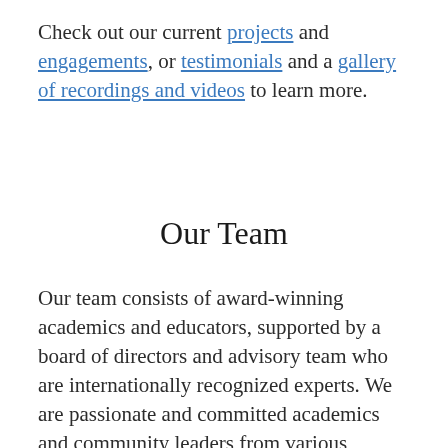Check out our current projects and engagements, or testimonials and a gallery of recordings and videos to learn more.
Our Team
Our team consists of award-winning academics and educators, supported by a board of directors and advisory team who are internationally recognized experts. We are passionate and committed academics and community leaders from various religious, non-religious, and Indigenous